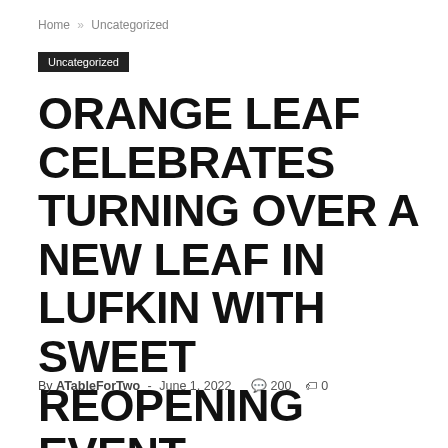Home » Uncategorized
Uncategorized
ORANGE LEAF CELEBRATES TURNING OVER A NEW LEAF IN LUFKIN WITH SWEET REOPENING EVENT
By ATableForTwo  -  June 1, 2022   🗨 200   🏷 0